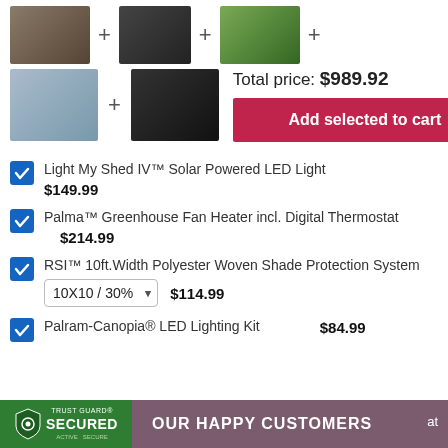[Figure (photo): Product bundle images: shed light, fan heater, greenhouse, shade system, LED kit in a row with plus signs]
Total price: $989.92
Add selected to cart
Light My Shed IV™ Solar Powered LED Light $149.99
Palma™ Greenhouse Fan Heater incl. Digital Thermostat $214.99
RSI™ 10ft.Width Polyester Woven Shade Protection System 10X10 / 30% $114.99
Palram-Canopia® LED Lighting Kit $84.99
[Figure (logo): Trust Guard Secured badge with OUR HAPPY CUSTOMERS text]